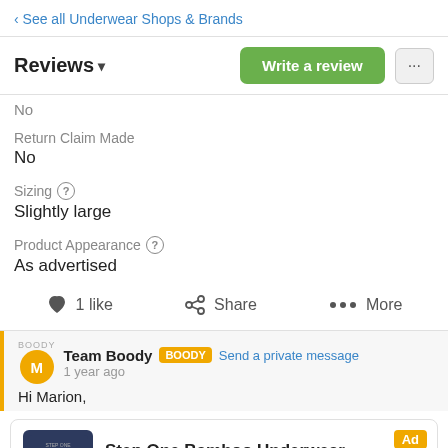‹ See all Underwear Shops & Brands
Reviews ▾
No
Return Claim Made
No
Sizing (?)
Slightly large
Product Appearance (?)
As advertised
♥ 1 like   Share   ··· More
Team Boody [BOODY] Send a private message
1 year ago
Hi Marion,
[Figure (screenshot): Ad card for Step One Bamboo Underwear showing product image, 4.7 star rating from 13,789 reviews, with Ad badge]